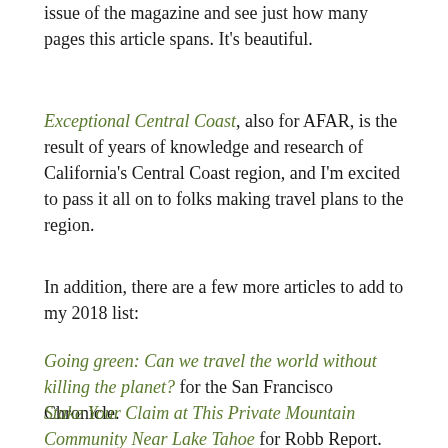issue of the magazine and see just how many pages this article spans. It's beautiful.
Exceptional Central Coast, also for AFAR, is the result of years of knowledge and research of California's Central Coast region, and I'm excited to pass it all on to folks making travel plans to the region.
In addition, there are a few more articles to add to my 2018 list:
Going green: Can we travel the world without killing the planet? for the San Francisco Chronicle.
Stake Your Claim at This Private Mountain Community Near Lake Tahoe for Robb Report.
Hit the Trail With the Best Hiking Shoes and Packs for...